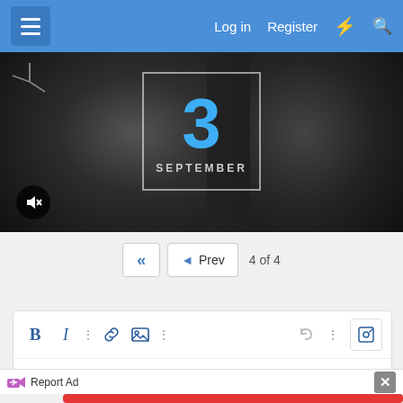Log in   Register
[Figure (screenshot): Hero banner showing dark background with two people, a date box overlay showing '3 SEPTEMBER' in blue and white text, and a mute button in the bottom left]
4 of 4
[Figure (screenshot): Text editor toolbar with Bold (B), Italic (I), dots menu, link, image, dots, undo, dots, and a preview/search icon button]
Report Ad
[Figure (screenshot): BitLife advertisement banner with 'FAIL' text and 'START A NEW LIFE' slogan on red background]